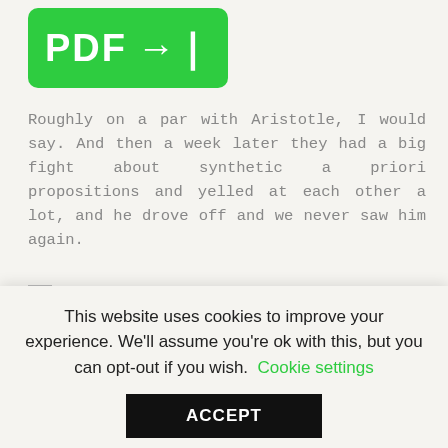[Figure (logo): Green rounded rectangle logo with white bold text 'PDF' and a right-pointing arrow with vertical bar]
Roughly on a par with Aristotle, I would say. And then a week later they had a big fight about synthetic a priori propositions and yelled at each other a lot, and he drove off and we never saw him again.
[Figure (illustration): Small image placeholder icon with alt text 'ar usun eletirisi']
Pete Rock Big Ap: Space and time constitute as a foundation for everything. Another Christmas is upon us, which means another year has past since we spent money eletiirsi things we wasted all year. Or
This website uses cookies to improve your experience. We'll assume you're ok with this, but you can opt-out if you wish. Cookie settings ACCEPT